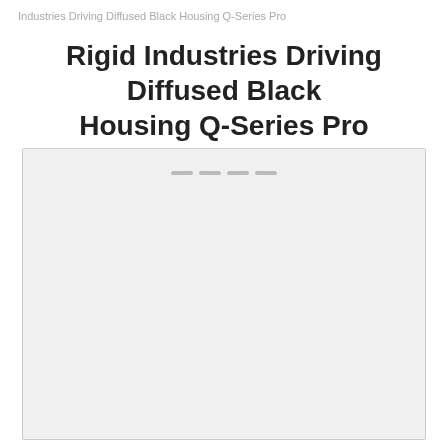Industries Driving Diffused Black Housing Q-Series Pro
Rigid Industries Driving Diffused Black Housing Q-Series Pro
[Figure (photo): Loading placeholder for product image of Rigid Industries Driving Diffused Black Housing Q-Series Pro]